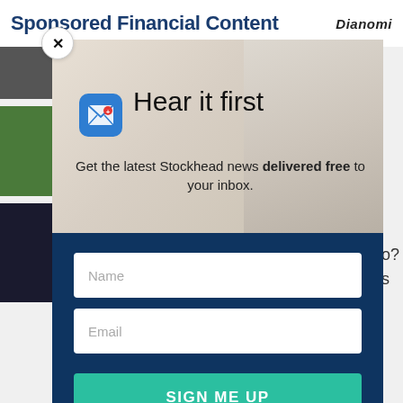Sponsored Financial Content
[Figure (screenshot): Dianomi logo text in top right corner]
[Figure (illustration): Modal popup with groundhog/marmot illustration in background, email icon, headline 'Hear it first', subtext about Stockhead newsletter signup, and a form with Name, Email fields and SIGN ME UP button]
Hear it first
Get the latest Stockhead news delivered free to your inbox.
Name
Email
SIGN ME UP